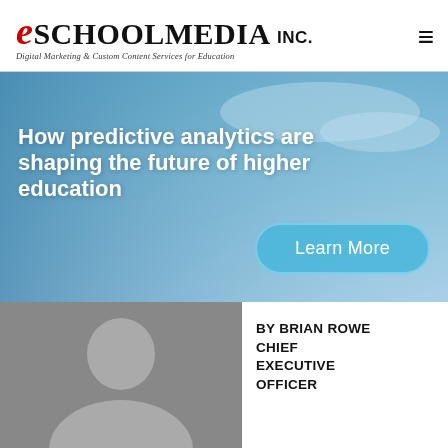eSchoolMedia Inc. – Digital Marketing & Custom Content Services for Education
[Figure (photo): Hero banner with blue sky background. Large white bold text reads: How predictive analytics are shaping the future of higher education. A teal rounded-rectangle button reads: Learn More.]
How predictive analytics are shaping the future of higher education
Learn More
[Figure (photo): Headshot photo of a man against a grey background, cropped at shoulders.]
BY BRIAN ROWE
CHIEF
EXECUTIVE
OFFICER